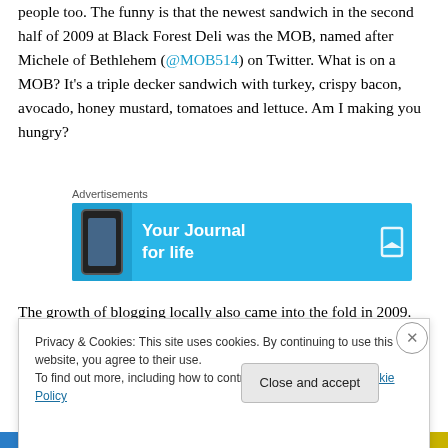people too.  The funny is that the newest sandwich in the second half of 2009 at Black Forest Deli was the MOB, named after Michele of Bethlehem (@MOB514) on Twitter.  What is on a MOB?  It's a triple decker sandwich with turkey, crispy bacon, avocado, honey mustard, tomatoes and lettuce.  Am I making you hungry?
[Figure (screenshot): Advertisement banner with cyan/blue background showing a phone graphic on the left, text 'Your Journal for life' in white, and a bookmark icon on the right. Labeled 'Advertisements' above.]
The growth of blogging locally also came into the fold in 2009.  Three that really took advantage of social media
Privacy & Cookies: This site uses cookies. By continuing to use this website, you agree to their use.
To find out more, including how to control cookies, see here: Cookie Policy
Close and accept